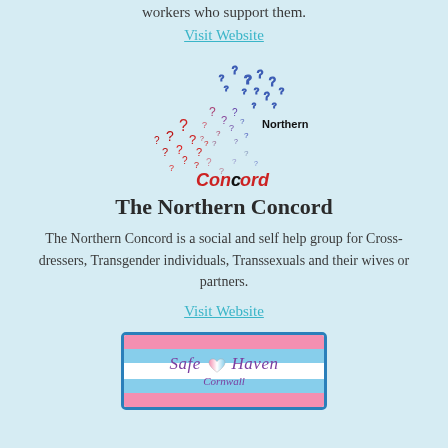workers who support them.
Visit Website
[Figure (logo): Northern Concord logo: colorful cluster of question mark shapes in red, white and blue forming a circular mass, with 'Northern Concord' text]
The Northern Concord
The Northern Concord is a social and self help group for Cross-dressers, Transgender individuals, Transsexuals and their wives or partners.
Visit Website
[Figure (logo): Safe Haven Cornwall logo: card with transgender flag stripe background (pink, white, blue), purple italic 'Safe Haven' text with heart, and 'Cornwall' subtitle]